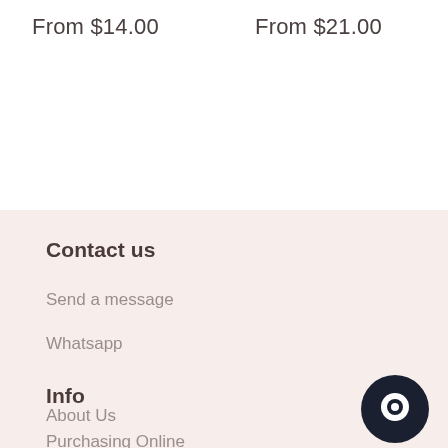From $14.00
From $21.00
Contact us
Send a message
Whatsapp
Info
About Us
Purchasing Online
[Figure (illustration): Dark circular chat button icon in bottom-right corner]